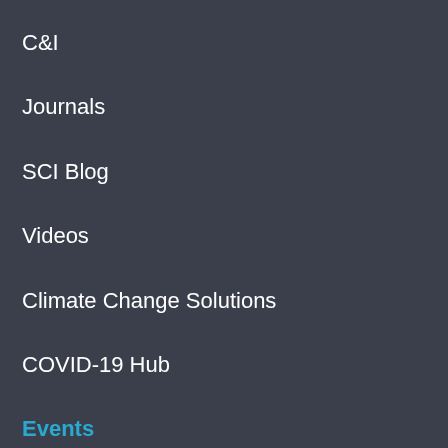C&I
Journals
SCI Blog
Videos
Climate Change Solutions
COVID-19 Hub
Events